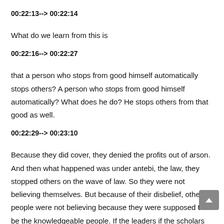00:22:13--> 00:22:14
What do we learn from this is
00:22:16--> 00:22:27
that a person who stops from good himself automatically stops others? A person who stops from good himself automatically? What does he do? He stops others from that good as well.
00:22:29--> 00:23:10
Because they did cover, they denied the profits out of arson. And then what happened was under antebi, the law, they stopped others on the wave of law. So they were not believing themselves. But because of their disbelief, other people were not believing because they were supposed to be the knowledgeable people. If the leaders if the scholars are not believing, then obviously the masses are going to